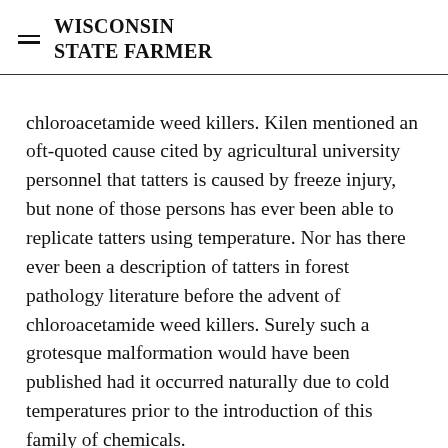WISCONSIN STATE FARMER
chloroacetamide weed killers. Kilen mentioned an oft-quoted cause cited by agricultural university personnel that tatters is caused by freeze injury, but none of those persons has ever been able to replicate tatters using temperature. Nor has there ever been a description of tatters in forest pathology literature before the advent of chloroacetamide weed killers. Surely such a grotesque malformation would have been published had it occurred naturally due to cold temperatures prior to the introduction of this family of chemicals.
Jack wrote of parents admonishing their children, “Go inside, kids, John’s spraying.” It’s far past time that the DNR Environmental Protection